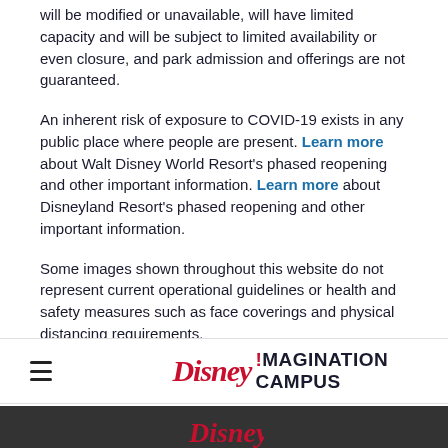will be modified or unavailable, will have limited capacity and will be subject to limited availability or even closure, and park admission and offerings are not guaranteed.
An inherent risk of exposure to COVID-19 exists in any public place where people are present. Learn more about Walt Disney World Resort's phased reopening and other important information. Learn more about Disneyland Resort's phased reopening and other important information.
Some images shown throughout this website do not represent current operational guidelines or health and safety measures such as face coverings and physical distancing requirements.
[Figure (logo): Disney Imagination Campus logo with hamburger menu icon on the left, Disney in red cursive script followed by an exclamation mark and IMAGINATION CAMPUS in bold dark text]
[Figure (logo): Partial Disney logo in red cursive script on a dark gray footer background]